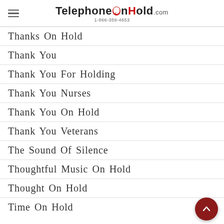TelephoneOnHold.com 1-866-359-4653
Thanks On Hold
Thank You
Thank You For Holding
Thank You Nurses
Thank You On Hold
Thank You Veterans
The Sound Of Silence
Thoughtful Music On Hold
Thought On Hold
Time On Hold